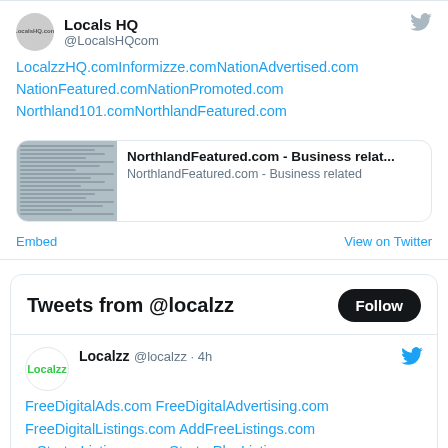Locals HQ @LocalsHQcom
LocalzzHQ.comInformizze.comNationAdvertised.com NationFeatured.comNationPromoted.com Northland101.comNorthlandFeatured.com
[Figure (screenshot): Link preview card for NorthlandFeatured.com - Business relat... with thumbnail of document]
Embed  View on Twitter
Tweets from @localzz
Localzz @localzz · 4h
FreeDigitalAds.com FreeDigitalAdvertising.com FreeDigitalListings.com AddFreeListings.com StarterListings.com, StarterPlusListings.com, BasicListings.com, BasicPlusListings.com, and more.